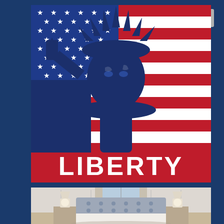[Figure (illustration): Statue of Liberty illustration over American flag background with red and white stripes and blue canton with stars. Below the illustration is a red banner with bold white text reading LIBERTY.]
[Figure (photo): Interior bedroom photo showing a tufted headboard bed with white bedding, two bedside lamps, and a large window with curtains in the background.]